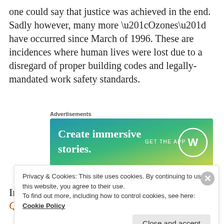one could say that justice was achieved in the end. Sadly however, many more “Ozones” have occurred since March of 1996. These are incidences where human lives were lost due to a disregard of proper building codes and legally-mandated work safety standards.
[Figure (other): Advertisement banner: gradient blue-green background with white text 'Create immersive stories.' and 'GET THE APP' with WordPress logo]
In 2001, 75 perished in a hotel fire also in Quezon
Privacy & Cookies: This site uses cookies. By continuing to use this website, you agree to their use. To find out more, including how to control cookies, see here: Cookie Policy